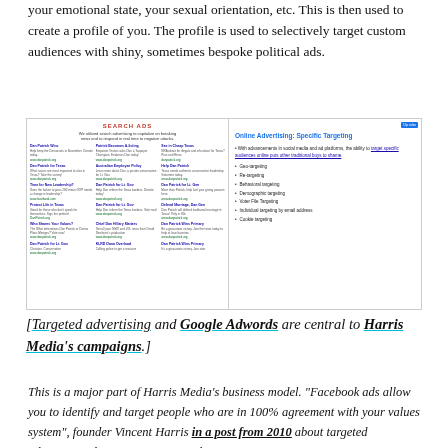your emotional state, your sexual orientation, etc. This is then used to create a profile of you. The profile is used to selectively target custom audiences with shiny, sometimes bespoke political ads.
[Figure (screenshot): Screenshot showing two panels: left panel titled 'SEARCH ADS' with Google search ad examples for Dan Patrick political campaigns; right panel titled 'Online Advertising: Specific Targeting' listing targeting methods including Geo-targeting, Re-targeting, Behavioral targeting, Demographic targeting, Voter File Targeting, Individual targeting by email address, Cookie targeting.]
[Targeted advertising and Google Adwords are central to Harris Media's campaigns.]
This is a major part of Harris Media's business model. "Facebook ads allow you to identify and target people who are in 100% agreement with your values system", founder Vincent Harris in a post from 2010 about targeted advertising, discussing recent work.